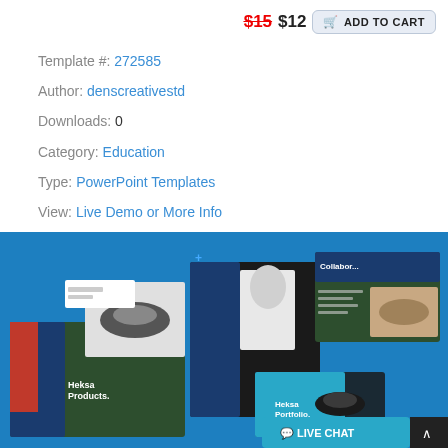$15 $12 ADD TO CART
Template #: 272585
Author: denscreativestd
Downloads: 0
Category: Education
Type: PowerPoint Templates
View: Live Demo or More Info
Alternate Live Demo: Click Here
[Figure (screenshot): Preview of a PowerPoint template product showing multiple dark green and blue slide layouts with sneaker/clothing product imagery, displayed on a blue background. Text on slides reads 'Heksa Products.' and 'Heksa Portfolio.' with a live chat button and scroll-to-top button visible at bottom right.]